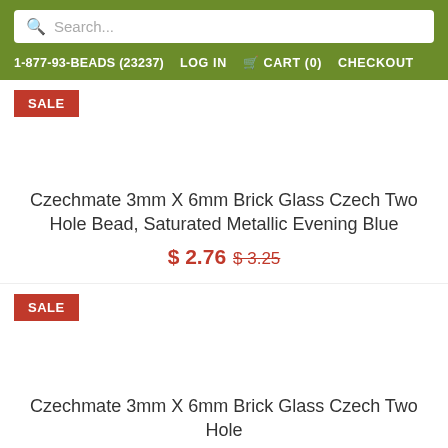Search...
1-877-93-BEADS (23237)  LOG IN  CART (0)  CHECKOUT
SALE
Czechmate 3mm X 6mm Brick Glass Czech Two Hole Bead, Saturated Metallic Evening Blue
$ 2.76 $ 3.25
SALE
Czechmate 3mm X 6mm Brick Glass Czech Two Hole